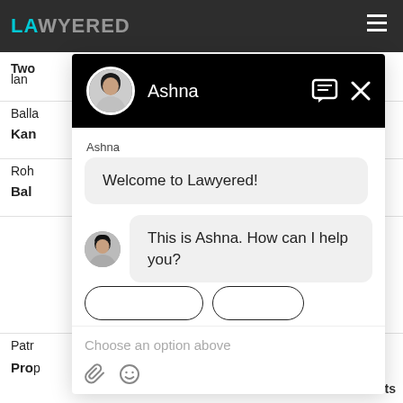[Figure (screenshot): Screenshot of Lawyered website with a chat overlay. The website shows a dark top navigation bar with the Lawyered logo in teal/white. A chat window is overlaid showing a conversation with 'Ashna'. The chat header is black with a circular avatar photo and the name 'Ashna', along with chat and close icons. There are two messages: 'Welcome to Lawyered!' in a grey bubble, and 'This is Ashna. How can I help you?' in a grey bubble with an avatar. Below are two partially visible rounded buttons, an input area that says 'Choose an option above', and attachment and emoji icons.]